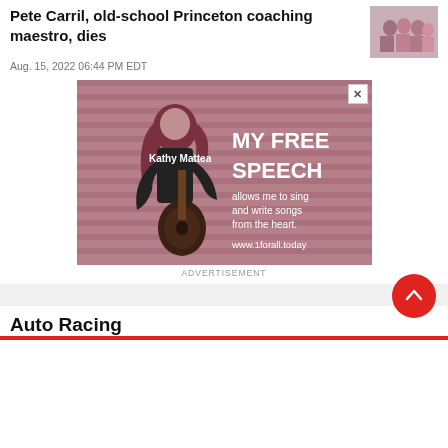Pete Carril, old-school Princeton coaching maestro, dies
Aug. 15, 2022 06:44 PM EDT
[Figure (photo): Advertisement image featuring Kathy Mattea holding a guitar against a pink/red background with text: MY FREE SPEECH allows me to sing and write songs from the heart. www.1forall.today]
ADVERTISEMENT
Auto Racing